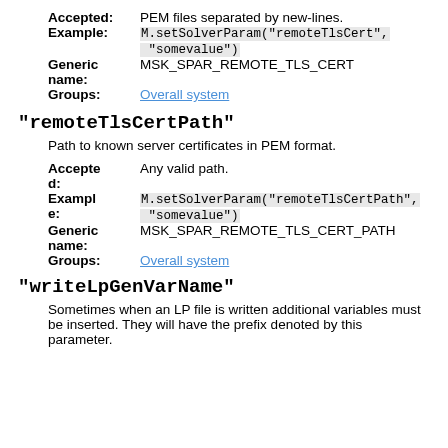Accepted: PEM files separated by new-lines.
Example: M.setSolverParam("remoteTlsCert", "somevalue")
Generic name: MSK_SPAR_REMOTE_TLS_CERT
Groups: Overall system
"remoteTlsCertPath"
Path to known server certificates in PEM format.
Accepted: Any valid path.
Example: M.setSolverParam("remoteTlsCertPath", "somevalue")
Generic name: MSK_SPAR_REMOTE_TLS_CERT_PATH
Groups: Overall system
"writeLpGenVarName"
Sometimes when an LP file is written additional variables must be inserted. They will have the prefix denoted by this parameter.